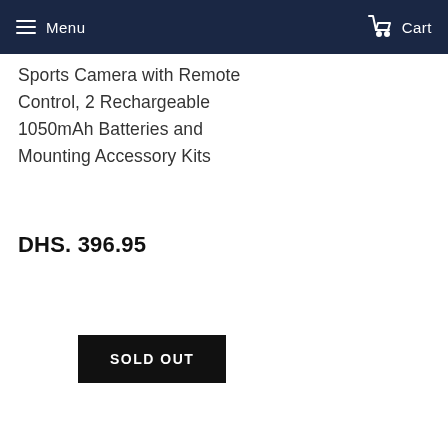Menu   Cart
Sports Camera with Remote Control, 2 Rechargeable 1050mAh Batteries and Mounting Accessory Kits
DHS. 396.95
SOLD OUT